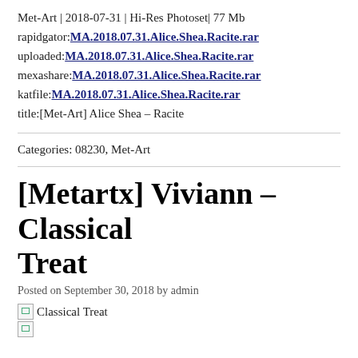Met-Art | 2018-07-31 | Hi-Res Photoset| 77 Mb
rapidgator:MA.2018.07.31.Alice.Shea.Racite.rar
uploaded:MA.2018.07.31.Alice.Shea.Racite.rar
mexashare:MA.2018.07.31.Alice.Shea.Racite.rar
katfile:MA.2018.07.31.Alice.Shea.Racite.rar
title:[Met-Art] Alice Shea – Racite
Categories: 08230, Met-Art
[Metartx] Viviann – Classical Treat
Posted on September 30, 2018 by admin
[Figure (photo): Broken image placeholder labeled Classical Treat]
[Figure (photo): Broken image placeholder (second image)]